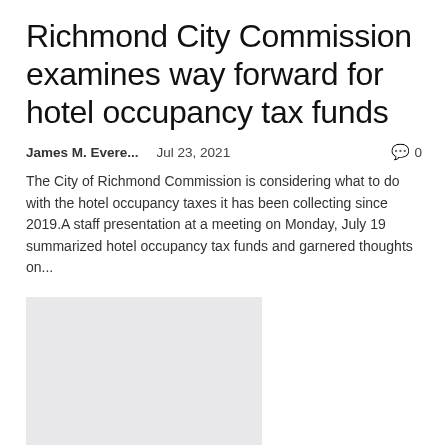Richmond City Commission examines way forward for hotel occupancy tax funds
James M. Evere...    Jul 23, 2021    💬 0
The City of Richmond Commission is considering what to do with the hotel occupancy taxes it has been collecting since 2019.A staff presentation at a meeting on Monday, July 19 summarized hotel occupancy tax funds and garnered thoughts on...
[Figure (photo): Placeholder image in light gray]
Travis County allocates funds